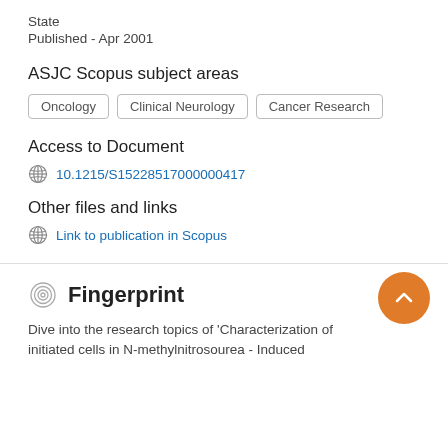State
Published - Apr 2001
ASJC Scopus subject areas
Oncology
Clinical Neurology
Cancer Research
Access to Document
10.1215/S15228517000000417
Other files and links
Link to publication in Scopus
Fingerprint
Dive into the research topics of 'Characterization of initiated cells in N-methylnitrosourea - Induced